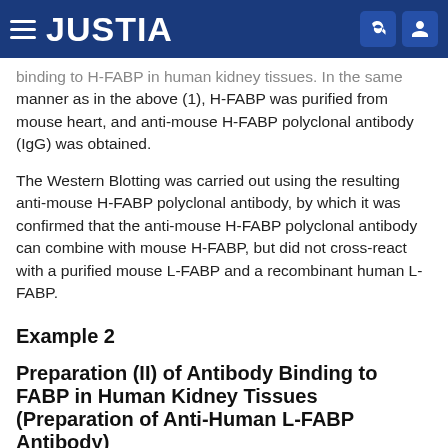JUSTIA
binding to H-FABP in human kidney tissues. In the same manner as in the above (1), H-FABP was purified from mouse heart, and anti-mouse H-FABP polyclonal antibody (IgG) was obtained.
The Western Blotting was carried out using the resulting anti-mouse H-FABP polyclonal antibody, by which it was confirmed that the anti-mouse H-FABP polyclonal antibody can combine with mouse H-FABP, but did not cross-react with a purified mouse L-FABP and a recombinant human L-FABP.
Example 2
Preparation (II) of Antibody Binding to FABP in Human Kidney Tissues (Preparation of Anti-Human L-FABP Antibody)